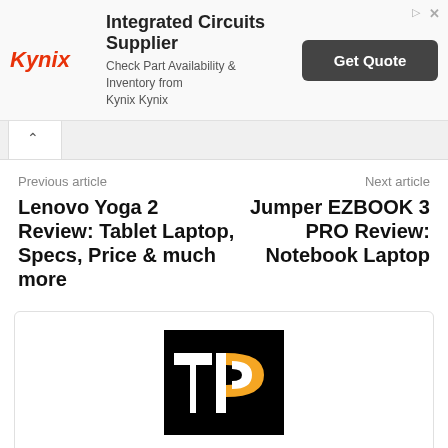[Figure (logo): Kynix Integrated Circuits Supplier advertisement banner with Kynix logo, ad title, sub-text, and Get Quote button]
Previous article
Next article
Lenovo Yoga 2 Review: Tablet Laptop, Specs, Price & much more
Jumper EZBOOK 3 PRO Review: Notebook Laptop
[Figure (logo): Team TechinPost logo — black square with white and gold TP letters]
Team TechinPost
http://www.techinpost.com